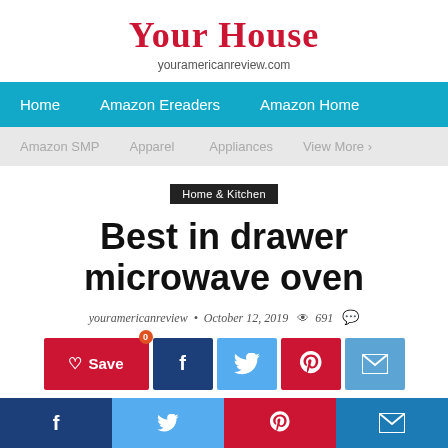Your House
youramericanreview.com
[Figure (screenshot): Navigation bar with links: Home, Amazon Ereaders, Amazon Home]
[Figure (screenshot): Secondary navigation bar with links: Amazon SMP, Apparel, Appliances, View More >]
Home & Kitchen
Best in drawer microwave oven
youramericanreview • October 12, 2019  691
[Figure (screenshot): Social sharing buttons: Save (heart icon), Facebook, Twitter, Pinterest, Email]
Social share bar with Facebook, Twitter, Pinterest, Email icons